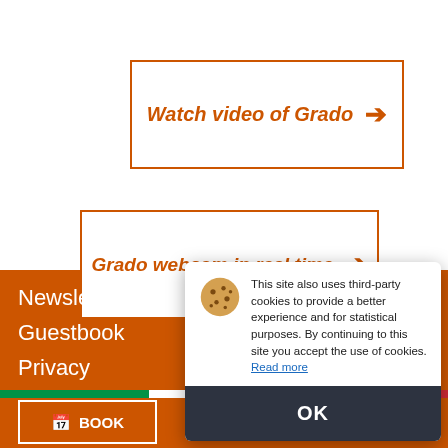Watch video of Grado →
Grado webcam in real time →
Newsletter
Guestbook
Privacy
BOOK
This site also uses third-party cookies to provide a better experience and for statistical purposes. By continuing to this site you accept the use of cookies. Read more
OK